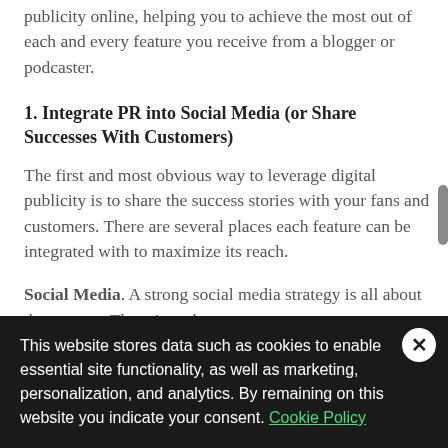publicity online, helping you to achieve the most out of each and every feature you receive from a blogger or podcaster.
1. Integrate PR into Social Media (or Share Successes With Customers)
The first and most obvious way to leverage digital publicity is to share the success stories with your fans and customers. There are several places each feature can be integrated with to maximize its reach.
Social Media. A strong social media strategy is all about the content. There is no better
This website stores data such as cookies to enable essential site functionality, as well as marketing, personalization, and analytics. By remaining on this website you indicate your consent. Cookie Policy